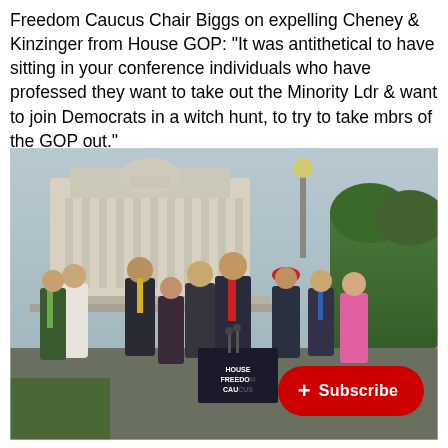Freedom Caucus Chair Biggs on expelling Cheney & Kinzinger from House GOP: "It was antithetical to have sitting in your conference individuals who have professed they want to take out the Minority Ldr & want to join Democrats in a witch hunt, to try to take mbrs of the GOP out."
[Figure (photo): Group of politicians standing at an outdoor podium labeled 'HOUSE FREEDOM CAUCUS' in front of the US Capitol building. A man in a suit with a red tie speaks at the microphone, surrounded by other legislators. A red YouTube Subscribe button overlay appears in the bottom right corner.]